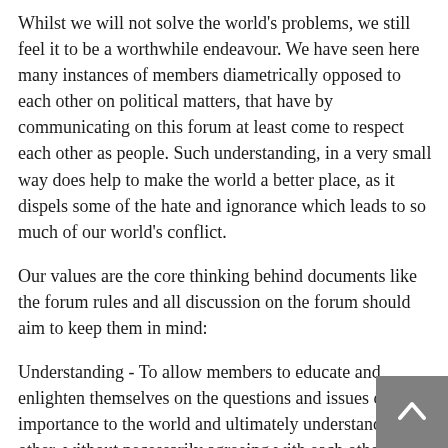Whilst we will not solve the world's problems, we still feel it to be a worthwhile endeavour. We have seen here many instances of members diametrically opposed to each other on political matters, that have by communicating on this forum at least come to respect each other as people. Such understanding, in a very small way does help to make the world a better place, as it dispels some of the hate and ignorance which leads to so much of our world's conflict.
Our values are the core thinking behind documents like the forum rules and all discussion on the forum should aim to keep them in mind:
Understanding - To allow members to educate and enlighten themselves on the questions and issues of importance to the world and ultimately understand each other, without necessarily agreeing with each other.
Respect - The Politics Forum is not a "free speech" forum where anything goes. It is intended as a forum environment where users must at least show a minimum degree of respect for